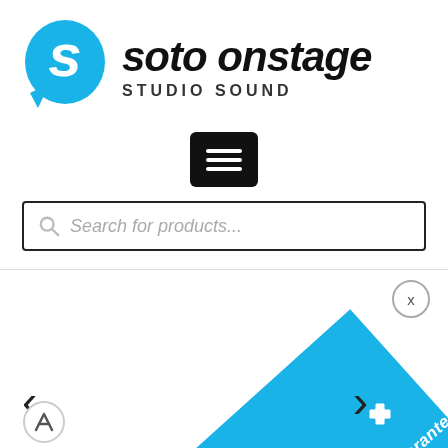[Figure (logo): Soto Onstage Studio Sound logo with teal S-shaped speech bubble icon and stylized bold italic text 'soto onstage' with 'STUDIO SOUND' tagline below]
[Figure (other): Black square hamburger menu button with three white horizontal lines]
[Figure (other): Search bar with magnifying glass icon and italic placeholder text 'Search for products...']
[Figure (other): Bottom section showing image carousel navigation arrows (left and right chevrons), a close X button, a blue diagonal ribbon banner with text 'Lowest price guarantee', and a puzzle piece icon]